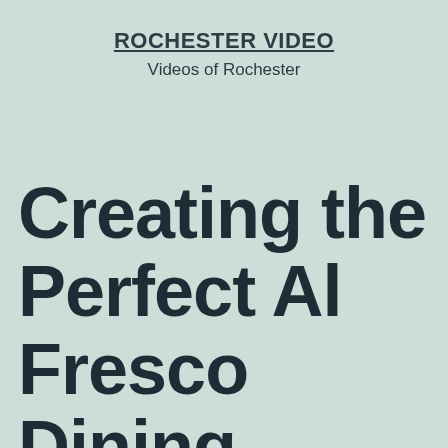ROCHESTER VIDEO
Videos of Rochester
Creating the Perfect Al Fresco Dining Experience for